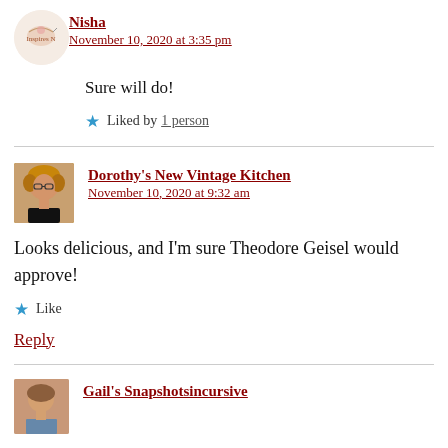[Figure (photo): Small circular avatar logo for user Nisha, appears to be a blog logo with floral design]
Nisha
November 10, 2020 at 3:35 pm
Sure will do!
★ Liked by 1 person
[Figure (photo): Profile photo of Dorothy, a woman with curly blonde hair and glasses]
Dorothy's New Vintage Kitchen
November 10, 2020 at 9:32 am
Looks delicious, and I'm sure Theodore Geisel would approve!
★ Like
Reply
[Figure (photo): Small profile photo of Gail, partially visible at bottom]
Gail's Snapshotsincursive